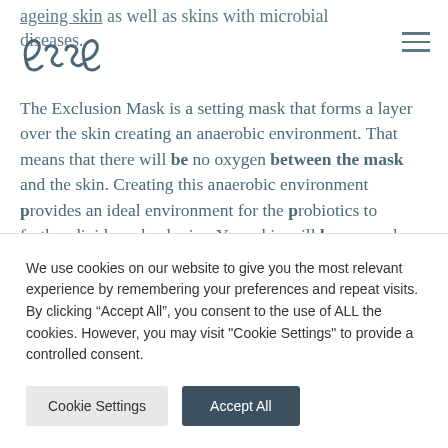ageing skin as well as skins with microbial diseases.
[Figure (logo): Esse brand logo — stylized cursive letters forming 'esse' in dark teal/grey]
The Exclusion Mask is a setting mask that forms a layer over the skin creating an anaerobic environment. That means that there will be no oxygen between the mask and the skin. Creating this anaerobic environment provides an ideal environment for the probiotics to further divide and colonise. Your skin will be covered with billions of live probiotics that will...
We use cookies on our website to give you the most relevant experience by remembering your preferences and repeat visits. By clicking “Accept All”, you consent to the use of ALL the cookies. However, you may visit "Cookie Settings" to provide a controlled consent.
Cookie Settings
Accept All